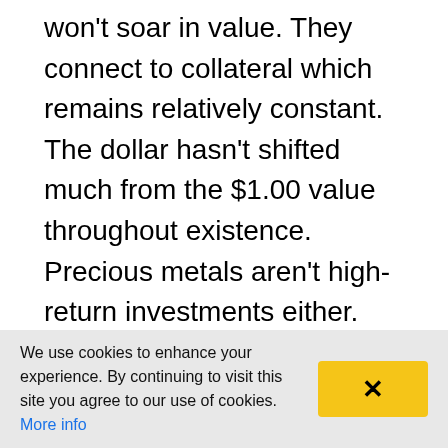won't soar in value. They connect to collateral which remains relatively constant. The dollar hasn't shifted much from the $1.00 value throughout existence. Precious metals aren't high-return investments either. Instead, they offer consistency against harsh or catastrophic environments. Ideally, investors should consider stablecoins as digital cash over a remarkable investment opportunity. It can also serve as the connecting force between standard cryptocurrencies and those wanting to enter the market.
We use cookies to enhance your experience. By continuing to visit this site you agree to our use of cookies. More info